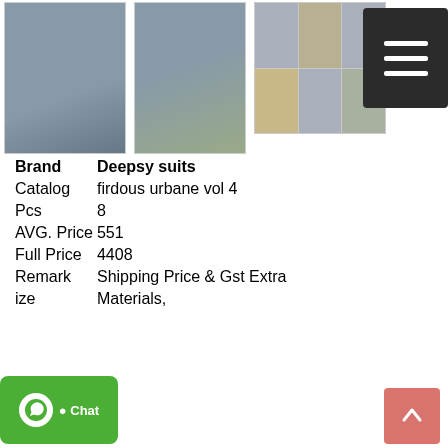[Figure (photo): Product thumbnail images of Pakistani suits - three thumbnails showing clothing items]
| Brand | Deepsy suits |
| --- | --- |
| Catalog | firdous urbane vol 4 |
| Pcs | 8 |
| AVG. Price | 551 |
| Full Price | 4408 |
| Remark | Shipping Price & Gst Extra |
| ize | Materials, |